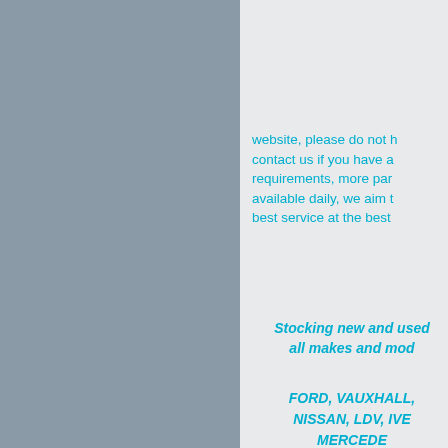website, please do not h... contact us if you have a... requirements, more par... available daily, we aim t... best service at the best ...
Stocking new and used... all makes and mod...
FORD, VAUXHALL, ... NISSAN, LDV, IVE... MERCEDE...